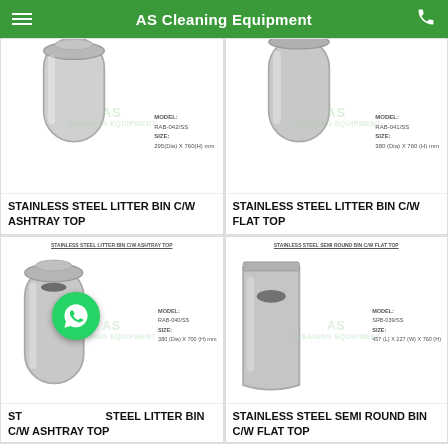AS Cleaning Equipment
[Figure (photo): Stainless steel litter bin with ashtray top, partially cropped. Model RAB-042/SS, Size: 295(Dia) X 760(H) mm]
STAINLESS STEEL LITTER BIN C/W ASHTRAY TOP
[Figure (photo): Stainless steel litter bin with flat top, partially cropped. Model RAB-041/SS, Size: 380 (Dia) X 760 (H) mm]
STAINLESS STEEL LITTER BIN C/W FLAT TOP
[Figure (photo): Stainless steel litter bin with ashtray top. Inner label: STAINLESS STEEL LITTER BIN C/W ASHTRAY TOP. Model RAB-040/SS, Size: 380 (Dia) X 700 (H) mm]
STAINLESS STEEL LITTER BIN C/W ASHTRAY TOP
[Figure (photo): Stainless steel semi round bin with flat top. Inner label: STAINLESS STEEL SEMI ROUND BIN C/W FLAT TOP. Model SRB-039/SS, Size: 457 (L) X 227 (W) X 760 (H)]
STAINLESS STEEL SEMI ROUND BIN C/W FLAT TOP